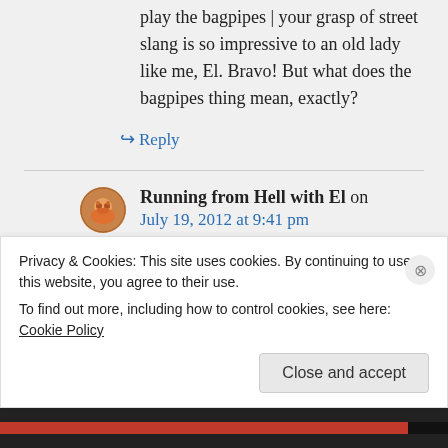play the bagpipes | your grasp of street slang is so impressive to an old lady like me, El. Bravo! But what does the bagpipes thing mean, exactly?
↳ Reply
Running from Hell with El on July 19, 2012 at 9:41 pm
Smirk
Privacy & Cookies: This site uses cookies. By continuing to use this website, you agree to their use.
To find out more, including how to control cookies, see here: Cookie Policy
Close and accept